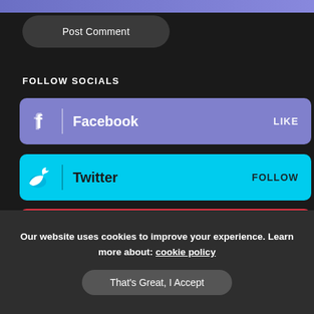[Figure (screenshot): Top gradient bar (blue-purple)]
Post Comment
FOLLOW SOCIALS
Facebook LIKE
Twitter FOLLOW
Pinterest PIN
Instagram FOLLOW
Our website uses cookies to improve your experience. Learn more about: cookie policy
That's Great, I Accept